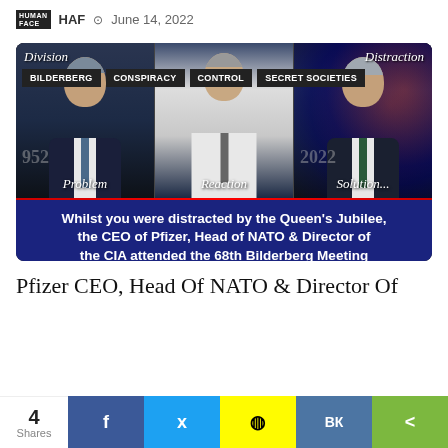HAF  June 14, 2022
[Figure (photo): Composite image with three men (Pfizer CEO, NATO Head, CIA Director) with overlay tags: BILDERBERG, CONSPIRACY, CONTROL, SECRET SOCIETIES. Text overlays: Division, Distraction, Problem, Reaction, Solution..., 1952, 2022. Bottom banner: Whilst you were distracted by the Queen's Jubilee, the CEO of Pfizer, Head of NATO & Director of the CIA attended the 68th Bilderberg Meeting]
Pfizer CEO, Head Of NATO & Director Of
4 Shares